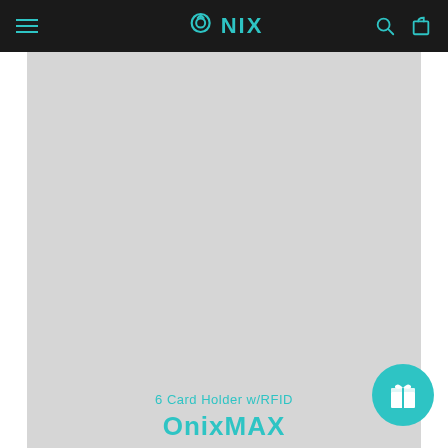ONIX — navigation bar with hamburger menu, logo, search and cart icons
[Figure (other): Large light grey product image placeholder area for 6 Card Holder w/RFID product]
6 Card Holder w/RFID
OnixMAX